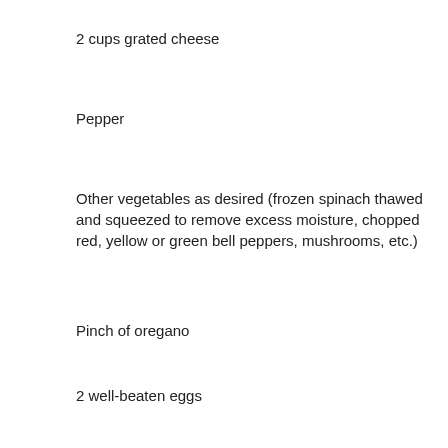2 cups grated cheese
Pepper
Other vegetables as desired (frozen spinach thawed and squeezed to remove excess moisture, chopped red, yellow or green bell peppers, mushrooms, etc.)
Pinch of oregano
2 well-beaten eggs
2/3 cup warm milk
Sauté onions in butter (and other veggies as desired)